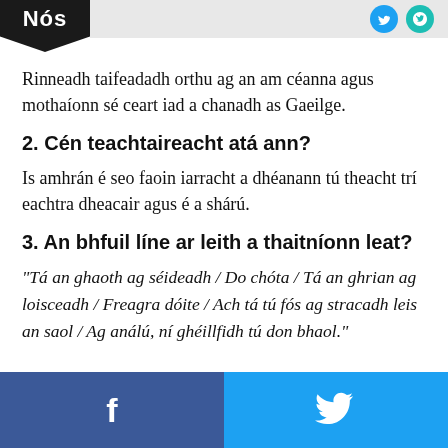Nós
Rinneadh taifeadadh orthu ag an am céanna agus mothaíonn sé ceart iad a chanadh as Gaeilge.
2. Cén teachtaireacht atá ann?
Is amhrán é seo faoin iarracht a dhéanann tú theacht trí eachtra dheacair agus é a shárú.
3. An bhfuil líne ar leith a thaitníonn leat?
“Tá an ghaoth ag séideadh / Do chóta / Tá an ghrian ag loisceadh / Freagra dóite / Ach tá tú fós ag stracadh leis an saol / Ag análú, ní ghéillfidh tú don bhaol.”
f  🐦